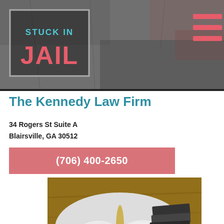[Figure (logo): Stuck In Jail logo with teal text 'STUCK IN' and red/pink text 'JAIL' inside a bordered box on a dark stone/concrete banner background with a hamburger menu icon in top right]
The Kennedy Law Firm
34 Rogers St Suite A
Blairsville, GA 30512
(706) 400-2650
[Figure (photo): Photo of open law books and a judge's gavel on a wooden table, with stacked books in the background]